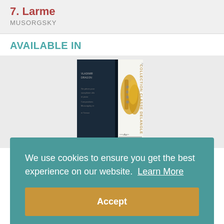7. Larme
MUSORGSKY
AVAILABLE IN
[Figure (photo): Book/sheet music cover showing saxophone and collection title 'Collection Classe Delangle']
We use cookies to ensure you get the best experience on our website.  Learn More
Accept
TOMASI